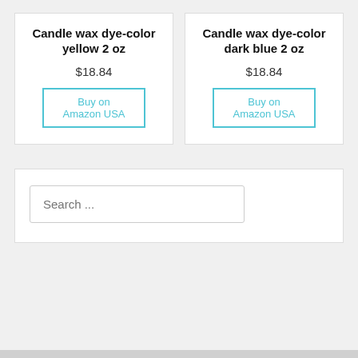Candle wax dye-color yellow 2 oz
$18.84
Buy on Amazon USA
Candle wax dye-color dark blue 2 oz
$18.84
Buy on Amazon USA
Search ...